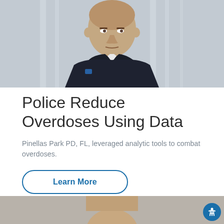[Figure (photo): Portrait photo of a police officer in dark uniform against a blurred indoor background]
Police Reduce Overdoses Using Data
Pinellas Park PD, FL, leveraged analytic tools to combat overdoses.
Learn More
[Figure (photo): Partial portrait photo of a person, cut off at bottom of page]